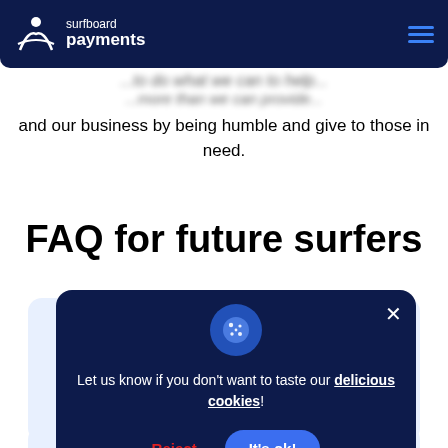The more I give, the more I have
surfboard payments
and our business by being humble and give to those in need.
FAQ for future surfers
Let us know if you don't want to taste our delicious cookies!
Reject  It's ok!